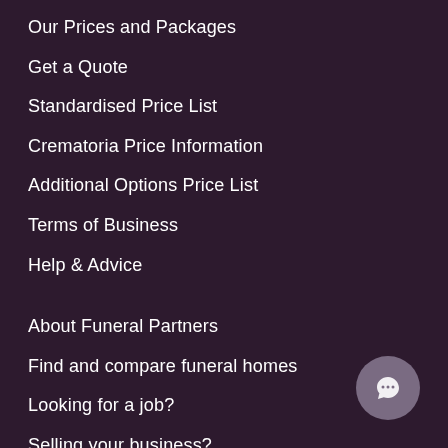Our Prices and Packages
Get a Quote
Standardised Price List
Crematoria Price Information
Additional Options Price List
Terms of Business
Help & Advice
About Funeral Partners
Find and compare funeral homes
Looking for a job?
Selling your business?
Bereavement Support
Disclosure of Interests
News
[Figure (illustration): Chat button icon — circular button with chat bubble icon in grey/purple]